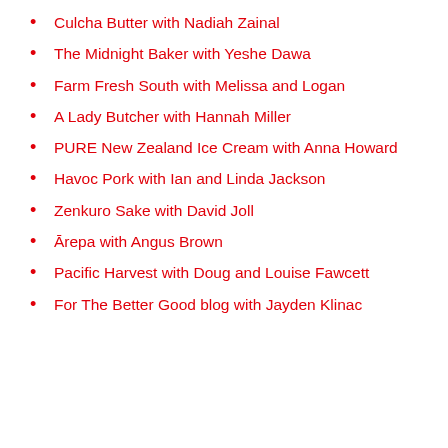Culcha Butter with Nadiah Zainal
The Midnight Baker with Yeshe Dawa
Farm Fresh South with Melissa and Logan
A Lady Butcher with Hannah Miller
PURE New Zealand Ice Cream with Anna Howard
Havoc Pork with Ian and Linda Jackson
Zenkuro Sake with David Joll
Ārepa with Angus Brown
Pacific Harvest with Doug and Louise Fawcett
For The Better Good blog with Jayden Klinac